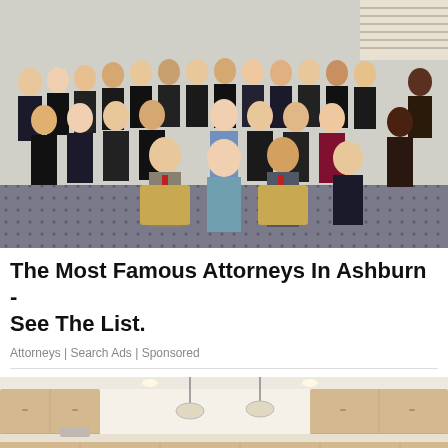[Figure (photo): Group photo of approximately 25 attorneys in formal business attire, posed in rows with some seated in chairs in the front row, taken indoors on a patterned carpet.]
The Most Famous Attorneys In Ashburn - See The List.
Attorneys | Search Ads | Sponsored
[Figure (photo): Partial view of a bright modern kitchen interior with wood cabinets and pendant lights.]